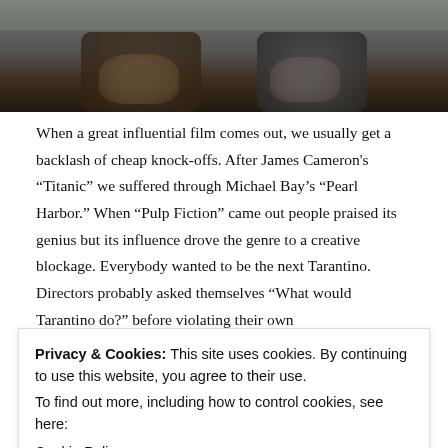[Figure (photo): Two people sitting together, cropped to show lower bodies/hands area, dark background.]
When a great influential film comes out, we usually get a backlash of cheap knock-offs. After James Cameron's “Titanic” we suffered through Michael Bay’s “Pearl Harbor.” When “Pulp Fiction” came out people praised its genius but its influence drove the genre to a creative blockage. Everybody wanted to be the next Tarantino. Directors probably asked themselves “What would Tarantino do?” before violating their own
originality. Like most imitations, of Rolex watches or anything else, they look the same but aren’t the same.
Privacy & Cookies: This site uses cookies. By continuing to use this website, you agree to their use.
To find out more, including how to control cookies, see here: Cookie Policy
Close and accept
With “In Bruges,” it feels like Martin McDonagh opened a window in a room where the air has been recycled endlessly. For his directional debut is f... and something new to say and so the experience is a rewarding one.